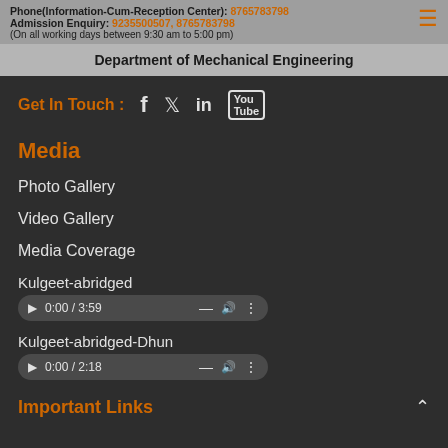Phone(Information-Cum-Reception Center): 8765783798
Admission Enquiry: 9235500507, 8765783798
(On all working days between 9:30 am to 5:00 pm)
Department of Mechanical Engineering
Get In Touch :
Media
Photo Gallery
Video Gallery
Media Coverage
Kulgeet-abridged 0:00 / 3:59
Kulgeet-abridged-Dhun 0:00 / 2:18
Important Links